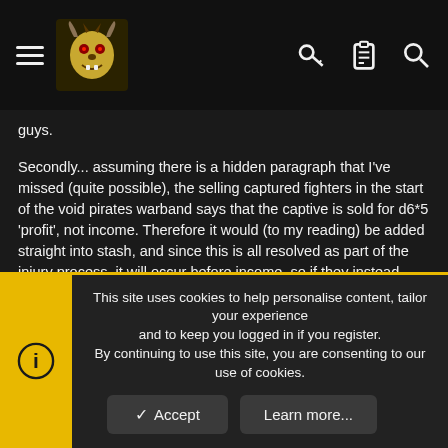Navigation header with hamburger menu, logo, key icon, clipboard icon, search icon
guys.
Secondly... assuming there is a hidden paragraph that I've missed (quite possible), the selling captured fighters in the start of the void pirates warband says that the captive is sold for d6*5 'profit', not income. Therefore it would (to my reading) be added straight into stash, and since this is all resolved as part of the injury process, it will occur before income, so if they instead convert to becoming a warband member, then they will count towards your numbers when you wash your other income through the table to generate profit.
One final thing... even if you can sell your own gang members... I would be inclined to argue that option should be taken out (maybe leave something in for a looser in a leadership challenge at most), as pretty much for the exact reason you say above, it serves no purpose other
This site uses cookies to help personalise content, tailor your experience and to keep you logged in if you register.
By continuing to use this site, you are consenting to our use of cookies.
Accept
Learn more...